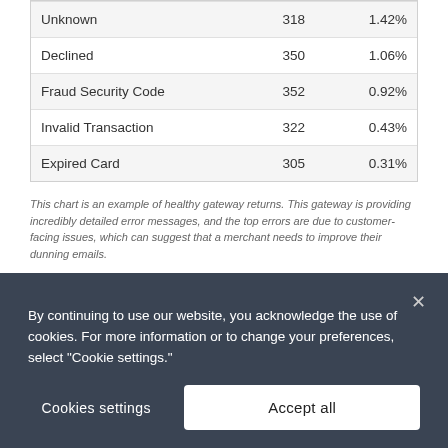|  |  |  |
| --- | --- | --- |
| Unknown | 318 | 1.42% |
| Declined | 350 | 1.06% |
| Fraud Security Code | 352 | 0.92% |
| Invalid Transaction | 322 | 0.43% |
| Expired Card | 305 | 0.31% |
This chart is an example of healthy gateway returns. This gateway is providing incredibly detailed error messages, and the top errors are due to customer-facing issues, which can suggest that a merchant needs to improve their dunning emails.
Analyzing Invoice Recovery
Every Recurly invoice contains an Invoice Summary export that includes a detailed list of all invoices that were at risk
By continuing to use our website, you acknowledge the use of cookies. For more information or to change your preferences, select "Cookie settings."